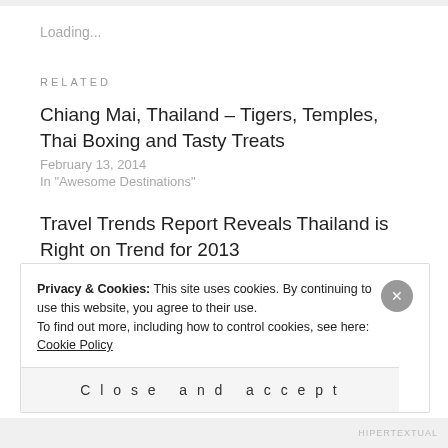Loading...
RELATED
Chiang Mai, Thailand – Tigers, Temples, Thai Boxing and Tasty Treats
February 13, 2014
In "Awesome Destinations"
Travel Trends Report Reveals Thailand is Right on Trend for 2013
February 14, 2013
Privacy & Cookies: This site uses cookies. By continuing to use this website, you agree to their use.
To find out more, including how to control cookies, see here: Cookie Policy
Close and accept